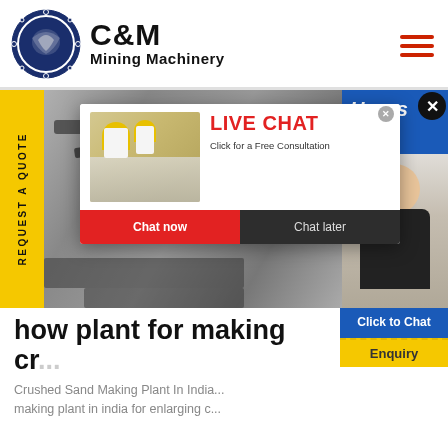[Figure (logo): C&M Mining Machinery logo with eagle/gear icon in dark blue circle, brand name in bold black text]
[Figure (screenshot): Mining machinery equipment in industrial setting, black and white background photo]
[Figure (infographic): Live chat popup overlay with workers in hard hats, LIVE CHAT heading in red, Click for a Free Consultation, Chat now and Chat later buttons]
REQUEST A QUOTE
Hours
online
[Figure (photo): Woman with headset smiling, customer support representative]
how plant for making cr...
Crushed Sand Making Plant In India... making plant in india for enlarging c...
Click to Chat
Enquiry